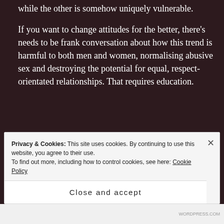while the other is somehow uniquely vulnerable.
If you want to change attitudes for the better, there's needs to be frank conversation about how this trend is harmful to both men and women, normalising abusive sex and destroying the potential for equal, respect-orientated relationships. That requires education.
★ Like
Privacy & Cookies: This site uses cookies. By continuing to use this website, you agree to their use. To find out more, including how to control cookies, see here: Cookie Policy
Close and accept